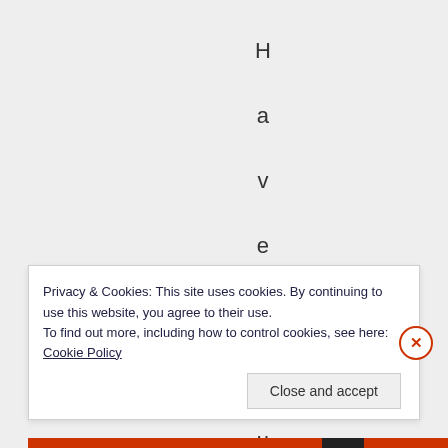H a v e y o u w o n
Privacy & Cookies: This site uses cookies. By continuing to use this website, you agree to their use.
To find out more, including how to control cookies, see here: Cookie Policy
Close and accept